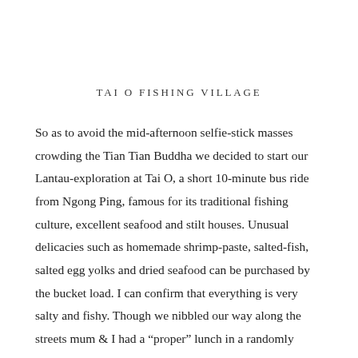TAI O FISHING VILLAGE
So as to avoid the mid-afternoon selfie-stick masses crowding the Tian Tian Buddha we decided to start our Lantau-exploration at Tai O, a short 10-minute bus ride from Ngong Ping, famous for its traditional fishing culture, excellent seafood and stilt houses. Unusual delicacies such as homemade shrimp-paste, salted-fish, salted egg yolks and dried seafood can be purchased by the bucket load. I can confirm that everything is very salty and fishy. Though we nibbled our way along the streets mum & I had a “proper” lunch in a randomly chosen but clearly popular restaurant where we shared xiaolongbao (soup filled dumplings), Szechuan-style green beans with ground pork, fried aubergine and some kind of scrambled egg